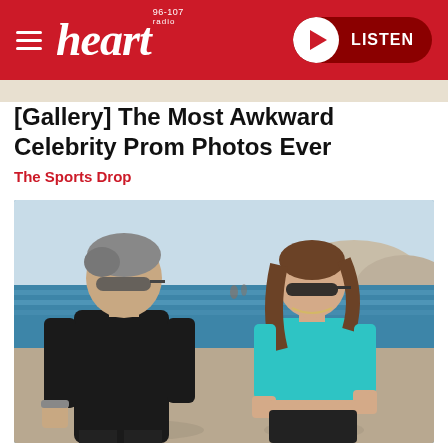heart 96-107 | LISTEN
[Gallery] The Most Awkward Celebrity Prom Photos Ever
The Sports Drop
[Figure (photo): A man in a black t-shirt and a woman in a turquoise crop top walking together on a beach, both wearing sunglasses. Rocky cliffs and blue water visible in the background.]